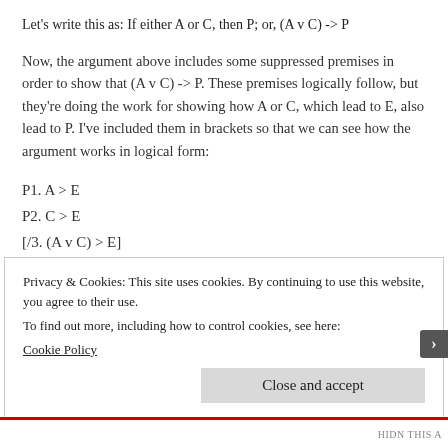Now, the argument above includes some suppressed premises in order to show that (A v C) -> P. These premises logically follow, but they're doing the work for showing how A or C, which lead to E, also lead to P. I've included them in brackets so that we can see how the argument works in logical form:
P1. A > E
P2. C > E
[/3. (A v C) > E]
[P4. E > P]
/5. (A v C) > P
Privacy & Cookies: This site uses cookies. By continuing to use this website, you agree to their use.
To find out more, including how to control cookies, see here:
Cookie Policy
Close and accept